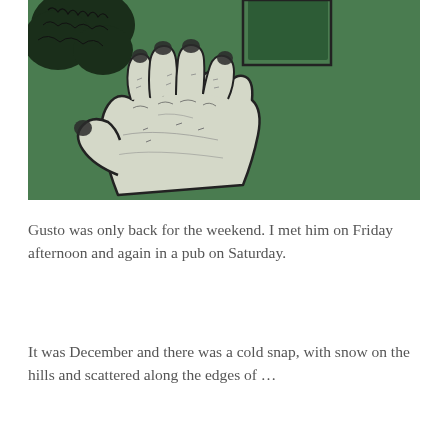[Figure (illustration): A cartoon/illustrated hand with dark-tipped fingers reaching upward against a green background with dark trees and structures in the upper left corner.]
Gusto was only back for the weekend. I met him on Friday afternoon and again in a pub on Saturday.
It was December and there was a cold snap, with snow on the hills and scattered along the edges of …